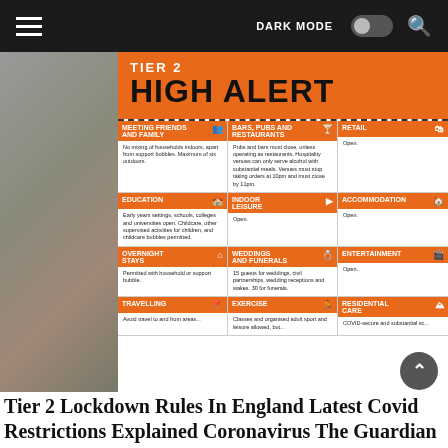DARK MODE  [toggle]  🔍
[Figure (photo): A street scene showing a person standing outdoors, with a large orange government COVID-19 Tier 2 High Alert information sign visible on the right. The sign contains a grid of rules covering: Meeting Friends and Family, Bars Pubs and Restaurants, Retail, Education, Indoor Leisure, Accommodation, Overnight Stays, Weddings and Funerals, Entertainment, Travelling, Exercise, Residential Care.]
Tier 2 Lockdown Rules In England Latest Covid Restrictions Explained Coronavirus The Guardian